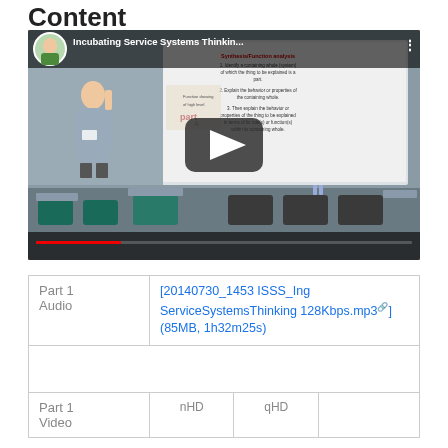Content
[Figure (screenshot): YouTube video thumbnail showing a man presenting in a lecture room with a screen displaying 'Incubating Service Systems Thinkin...' and a synthesis/functional analysis slide]
| Part 1
Audio | [20140730_1453 ISSS_Ing ServiceSystemsThinking 128Kbps.mp3] (85MB, 1h32m25s) |
|  |  |
| Part 1
Video | nHD | qHD |